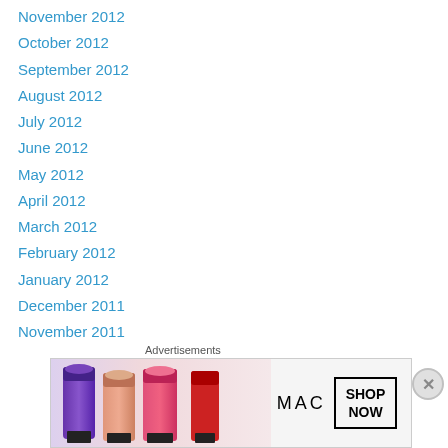November 2012
October 2012
September 2012
August 2012
July 2012
June 2012
May 2012
April 2012
March 2012
February 2012
January 2012
December 2011
November 2011
October 2011
September 2011
August 2011
July 2011
Advertisements
[Figure (photo): MAC cosmetics advertisement showing colorful lipsticks (purple, peach, pink, red) with MAC logo and SHOP NOW button]